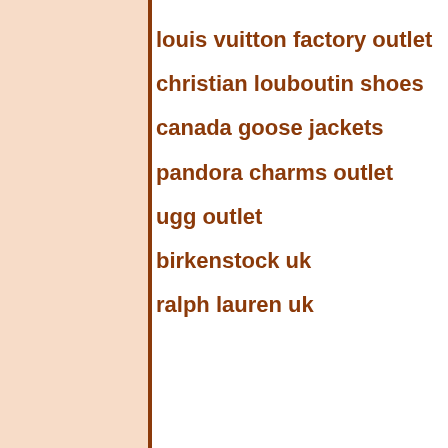louis vuitton factory outlet
christian louboutin shoes
canada goose jackets
pandora charms outlet
ugg outlet
birkenstock uk
ralph lauren uk